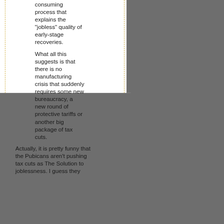consuming process that explains the "jobless" quality of early-stage recoveries.
What all this suggests is that there is no manufacturing crisis that suddenly requires some new bureaucracy, a new round of protective tariffs or another big package of tax cuts.
Actually, it is pretty funny that the Pubicans aren't pushing tax cuts as The Solution to joblessness. I guess they